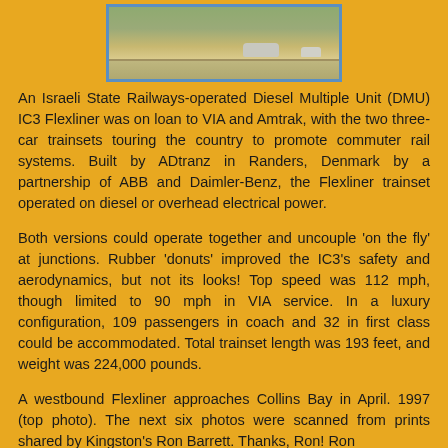[Figure (photo): A partial view of a train or vehicle on a road/track, taken from above, with a light blue border frame. Shows a highway scene with vehicles and open landscape.]
An Israeli State Railways-operated Diesel Multiple Unit (DMU) IC3 Flexliner was on loan to VIA and Amtrak, with the two three-car trainsets touring the country to promote commuter rail systems. Built by ADtranz in Randers, Denmark by a partnership of ABB and Daimler-Benz, the Flexliner trainset operated on diesel or overhead electrical power.
Both versions could operate together and uncouple 'on the fly' at junctions. Rubber 'donuts' improved the IC3's safety and aerodynamics, but not its looks! Top speed was 112 mph, though limited to 90 mph in VIA service. In a luxury configuration, 109 passengers in coach and 32 in first class could be accommodated. Total trainset length was 193 feet, and weight was 224,000 pounds.
A westbound Flexliner approaches Collins Bay in April. 1997 (top photo). The next six photos were scanned from prints shared by Kingston's Ron Barrett. Thanks, Ron! Ron